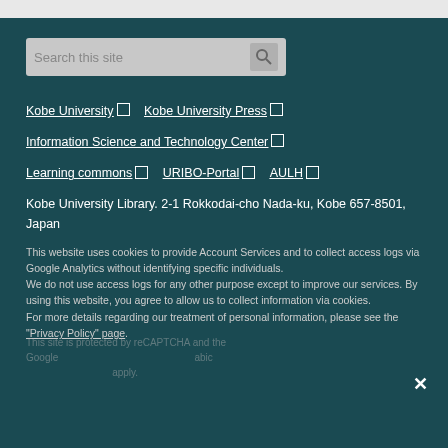[Figure (screenshot): Top gray bar of a web browser interface]
[Figure (screenshot): Search box with placeholder text 'Search this site' and a search icon button]
Kobe University [external link icon]   Kobe University Press [external link icon]
Information Science and Technology Center [external link icon]
Learning commons [external link icon]   URIBO-Portal [external link icon]   AULH [external link icon]
Kobe University Library. 2-1 Rokkodai-cho Nada-ku, Kobe 657-8501, Japan
This website uses cookies to provide Account Services and to collect access logs via Google Analytics without identifying specific individuals.
We do not use access logs for any other purpose except to improve our services. By using this website, you agree to allow us to collect information via cookies.
For more details regarding our treatment of personal information, please see the "Privacy Policy" page.